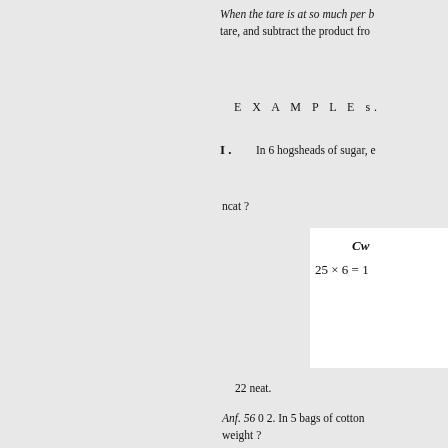When the tare is at so much per b... tare, and subtract the product fro...
E X A M P L E s.
I.   In 6 hogsheads of sugar, e...
ncat ?
22 neat.
Anf. 56 0 2. In 5 bags of cotton... weight ?
Cwt. qrs. to
A=7
19 27